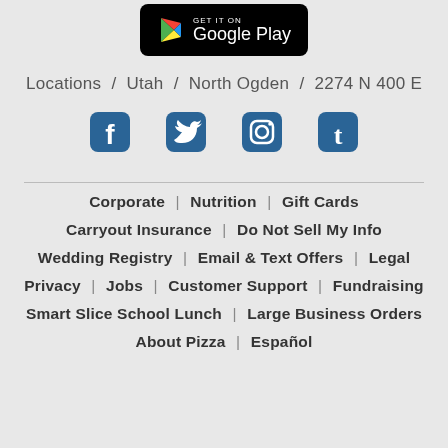[Figure (logo): Google Play Store badge — black rounded rectangle with Play Store triangle icon and text 'GET IT ON Google Play']
Locations / Utah / North Ogden / 2274 N 400 E
[Figure (infographic): Four social media icons in teal/dark blue: Facebook (f), Twitter (bird), Instagram (camera), Tumblr (t)]
Corporate | Nutrition | Gift Cards
Carryout Insurance | Do Not Sell My Info
Wedding Registry | Email & Text Offers | Legal
Privacy | Jobs | Customer Support | Fundraising
Smart Slice School Lunch | Large Business Orders
About Pizza | Español